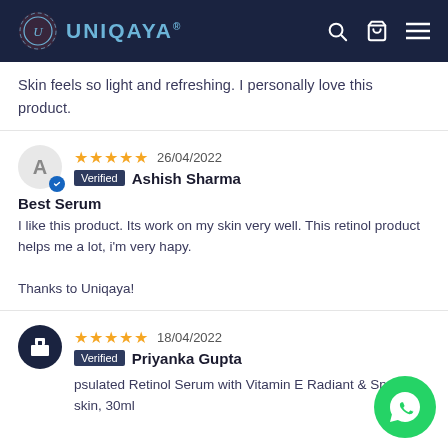UNIQAYA
Skin feels so light and refreshing. I personally love this product.
★★★★★ 26/04/2022 Verified Ashish Sharma
Best Serum
I like this product. Its work on my skin very well. This retinol product helps me a lot, i'm very hapy.

Thanks to Uniqaya!
★★★★★ 18/04/2022 Verified Priyanka Gupta
psulated Retinol Serum with Vitamin E Radiant & Spotless skin, 30ml